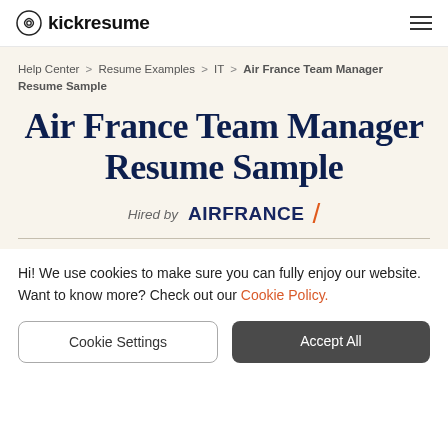kickresume
Help Center > Resume Examples > IT > Air France Team Manager Resume Sample
Air France Team Manager Resume Sample
Hired by AIRFRANCE
Hi! We use cookies to make sure you can fully enjoy our website. Want to know more? Check out our Cookie Policy.
Cookie Settings
Accept All